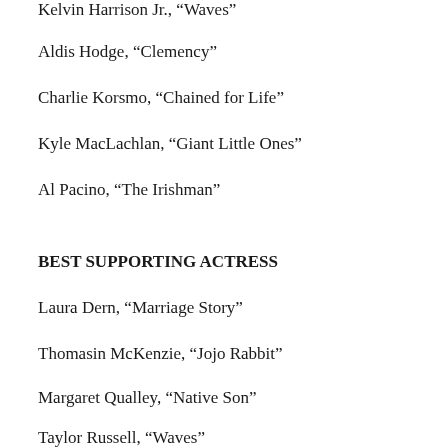Kelvin Harrison Jr., “Waves”
Aldis Hodge, “Clemency”
Charlie Korsmo, “Chained for Life”
Kyle MacLachlan, “Giant Little Ones”
Al Pacino, “The Irishman”
BEST SUPPORTING ACTRESS
Laura Dern, “Marriage Story”
Thomasin McKenzie, “Jojo Rabbit”
Margaret Qualley, “Native Son”
Taylor Russell, “Waves”